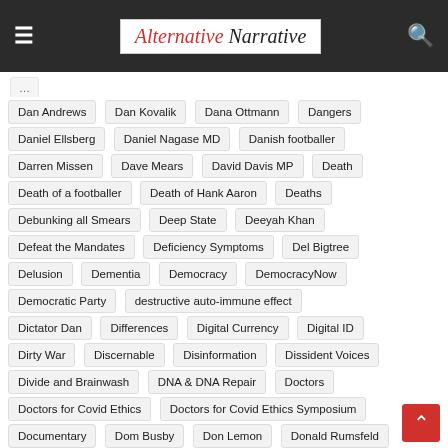Alternative Narrative
Dan Andrews
Dan Kovalik
Dana Ottmann
Dangers
Daniel Ellsberg
Daniel Nagase MD
Danish footballer
Darren Missen
Dave Mears
David Davis MP
Death
Death of a footballer
Death of Hank Aaron
Deaths
Debunking all Smears
Deep State
Deeyah Khan
Defeat the Mandates
Deficiency Symptoms
Del Bigtree
Delusion
Dementia
Democracy
DemocracyNow
Democratic Party
destructive auto-immune effect
Dictator Dan
Differences
Digital Currency
Digital ID
Dirty War
Discernable
Disinformation
Dissident Voices
Divide and Brainwash
DNA & DNA Repair
Doctors
Doctors for Covid Ethics
Doctors for Covid Ethics Symposium
Documentary
Dom Busby
Don Lemon
Donald Rumsfeld